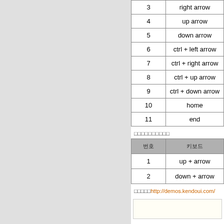| 번호 | 키보드 |
| --- | --- |
| 3 | right arrow |
| 4 | up arrow |
| 5 | down arrow |
| 6 | ctrl + left arrow |
| 7 | ctrl + right arrow |
| 8 | ctrl + up arrow |
| 9 | ctrl + down arrow |
| 10 | home |
| 11 | end |
□□□□□□□□□□
| 번호 | 키보드 |
| --- | --- |
| 1 | up + arrow |
| 2 | down + arrow |
□□□□□http://demos.kendoui.com/